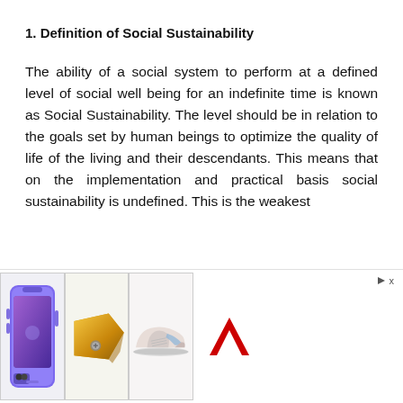1. Definition of Social Sustainability
The ability of a social system to perform at a defined level of social well being for an indefinite time is known as Social Sustainability. The level should be in relation to the goals set by human beings to optimize the quality of life of the living and their descendants. This means that on the implementation and practical basis social sustainability is undefined. This is the weakest
[Figure (other): Advertisement banner showing a purple iPhone 12, a yellow power tool accessory, a light pink sneaker, and a red logo mark (Adidas-style), with a small triangular play/ad indicator and X button in the top right corner.]